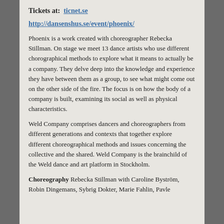Tickets at: ticnet.se
http://dansenshus.se/event/phoenix/
Phoenix is a work created with choreographer Rebecka Stillman. On stage we meet 13 dance artists who use different chorographical methods to explore what it means to actually be a company. They delve deep into the knowledge and experience they have between them as a group, to see what might come out on the other side of the fire. The focus is on how the body of a company is built, examining its social as well as physical characteristics.
Weld Company comprises dancers and choreographers from different generations and contexts that together explore different choreographical methods and issues concerning the collective and the shared. Weld Company is the brainchild of the Weld dance and art platform in Stockholm.
Choreography Rebecka Stillman with Caroline Byström, Robin Dingemans, Sybrig Dokter, Marie Fahlin, Pavle